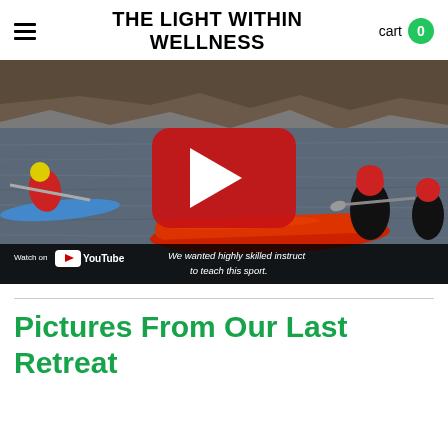THE LIGHT WITHIN WELLNESS
[Figure (screenshot): YouTube video thumbnail showing kayakers on water with a rocky shoreline in the background. A red YouTube play button is centered on the image. At the bottom, a dark bar shows 'Watch on YouTube' on the left and subtitle text 'We wanted highly skilled instructors to teach this sport.' on the right.]
Pictures From Our Last Retreat